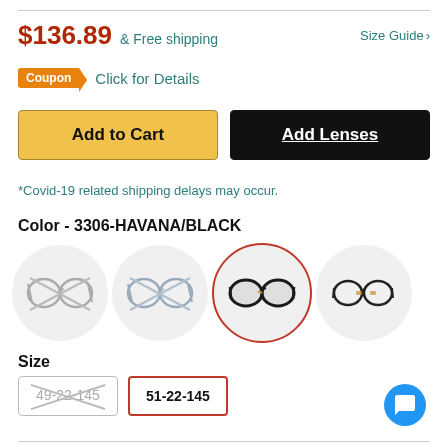$136.89 & Free shipping
Size Guide >
Coupon  Click for Details
Add to Cart
Add Lenses
*Covid-19 related shipping delays may occur.
Color - 3306-HAVANA/BLACK
[Figure (other): Four circular color swatches showing eyeglass frames; first two are grayed out (unavailable), third is selected with red border (HAVANA/BLACK dark tortoise frames), fourth is darker color option]
Size
49-22-145 (unavailable, crossed out)
51-22-145 (selected, red border)